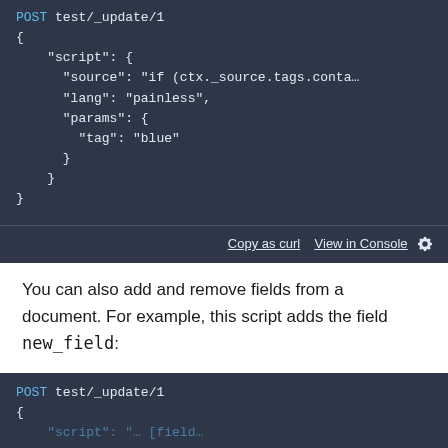[Figure (screenshot): Dark-themed code block showing a JSON body for a POST test/_update/1 request with script, source, lang, and params fields. Bottom toolbar shows 'Copy as curl' and 'View in Console' links.]
You can also add and remove fields from a document. For example, this script adds the field new_field:
[Figure (screenshot): Dark-themed code block showing the beginning of a POST test/_update/1 request with an opening brace.]